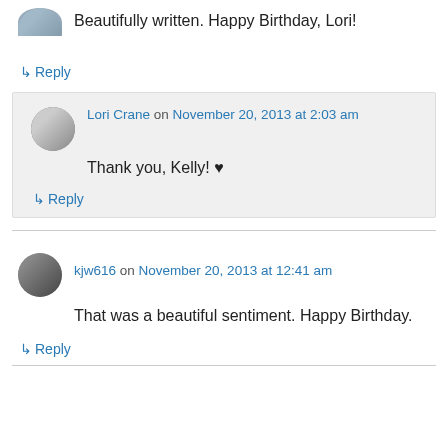Beautifully written. Happy Birthday, Lori!
↳ Reply
Lori Crane on November 20, 2013 at 2:03 am
Thank you, Kelly! ♥
↳ Reply
kjw616 on November 20, 2013 at 12:41 am
That was a beautiful sentiment. Happy Birthday.
↳ Reply